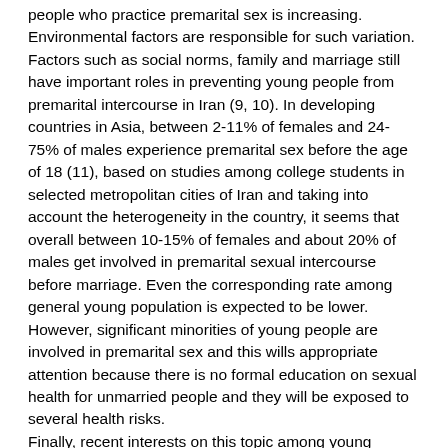people who practice premarital sex is increasing. Environmental factors are responsible for such variation. Factors such as social norms, family and marriage still have important roles in preventing young people from premarital intercourse in Iran (9, 10). In developing countries in Asia, between 2-11% of females and 24-75% of males experience premarital sex before the age of 18 (11), based on studies among college students in selected metropolitan cities of Iran and taking into account the heterogeneity in the country, it seems that overall between 10-15% of females and about 20% of males get involved in premarital sexual intercourse before marriage. Even the corresponding rate among general young population is expected to be lower. However, significant minorities of young people are involved in premarital sex and this wills appropriate attention because there is no formal education on sexual health for unmarried people and they will be exposed to several health risks.
Finally, recent interests on this topic among young scholars in Iran should be acknowledged. These methodological considerations need to be addressed carefully. Studies with robust methodology can help to provide scientific evidences on the level and determinants of high risk sexual behaviors among